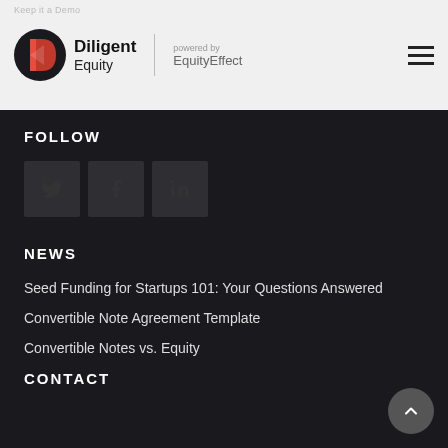Diligent Equity powered by EquityEffect
FOLLOW
[Figure (other): Social media icons: Twitter, Facebook, LinkedIn]
NEWS
Seed Funding for Startups 101: Your Questions Answered
Convertible Note Agreement Template
Convertible Notes vs. Equity
CONTACT